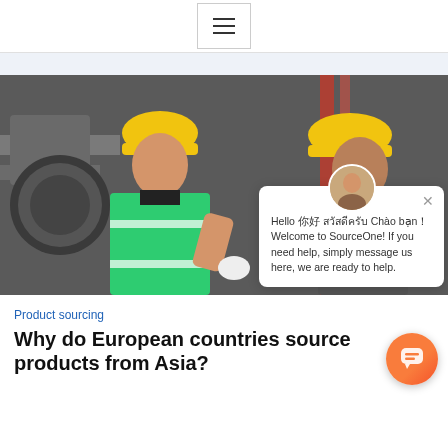☰ (hamburger menu button)
[Figure (screenshot): Factory photo showing two workers wearing yellow hard hats and high-visibility vests in an industrial warehouse setting, with a chat popup overlay from SourceOne reading: Hello [multilingual greetings] Chào [characters] Welcome to SourceOne! If you need help, simply message us here, we are ready to help.]
Product sourcing
Why do European countries source products from Asia?